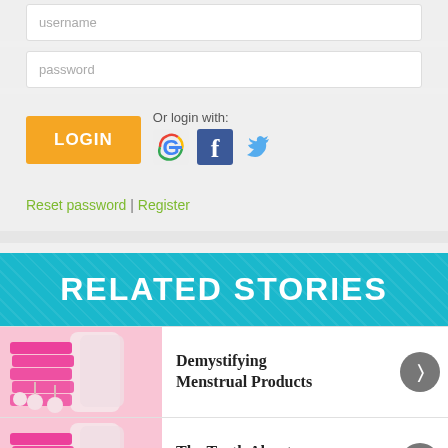username
password
LOGIN
Or login with:
Reset password | Register
RELATED STORIES
[Figure (photo): Stacked pink sanitary pads and tampons on pink background]
Demystifying Menstrual Products
[Figure (photo): Stacked pink sanitary pads and tampons on pink background]
The Truth About Tampons